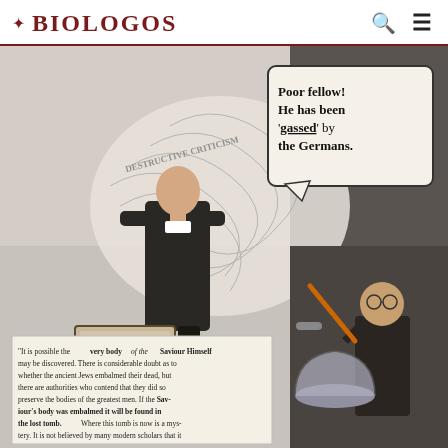BioLogos
[Figure (illustration): A historical editorial cartoon showing a preacher at an 'Evangelical Pulpit' being affected by a swirling cloud labeled 'Destructive Criticism of the Bible', with a speech bubble reading 'Poor fellow! He has been gassed by the Germans.' In the lower portion, a quote reads: 'It is possible the very body of the Saviour Himself may be discovered. There is considerable doubt as to whether the ancient Jews embalmed their dead, but there are authorities who contend that they did so preserve the bodies of the greatest men. If the Saviour's body was embalmed it will be found in the lost tomb. Where this tomb is now is a mystery. It is not believed by many modern scholars that it is underneath the church of the Holy Sepulchre, where...' A second figure on the right holds a pump device.]